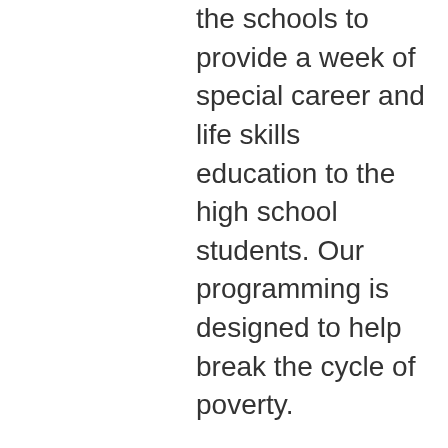the schools to provide a week of special career and life skills education to the high school students. Our programming is designed to help break the cycle of poverty.
Some examples of the programming we’re providing:
Yoga
Sewing
Mehndi
Cosmetology
Personality Development